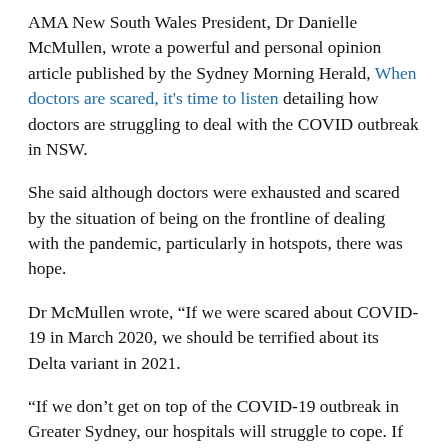AMA New South Wales President, Dr Danielle McMullen, wrote a powerful and personal opinion article published by the Sydney Morning Herald, When doctors are scared, it's time to listen detailing how doctors are struggling to deal with the COVID outbreak in NSW.
She said although doctors were exhausted and scared by the situation of being on the frontline of dealing with the pandemic, particularly in hotspots, there was hope.
Dr McMullen wrote, “If we were scared about COVID-19 in March 2020, we should be terrified about its Delta variant in 2021.
“If we don’t get on top of the COVID-19 outbreak in Greater Sydney, our hospitals will struggle to cope. If COVID-19 runs rampant in country NSW, I’m concerned healthcare services will be overwhelmed.”
Dr McMullen said that getting vaccinated was the only way we will get back to life without restrictions.